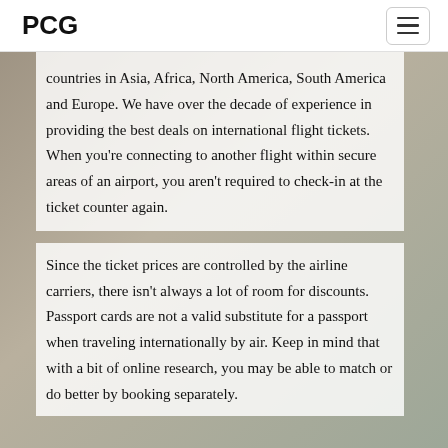PCG
countries in Asia, Africa, North America, South America and Europe. We have over the decade of experience in providing the best deals on international flight tickets. When you're connecting to another flight within secure areas of an airport, you aren't required to check-in at the ticket counter again.
Since the ticket prices are controlled by the airline carriers, there isn't always a lot of room for discounts. Passport cards are not a valid substitute for a passport when traveling internationally by air. Keep in mind that with a bit of online research, you may be able to match or do better by booking separately.